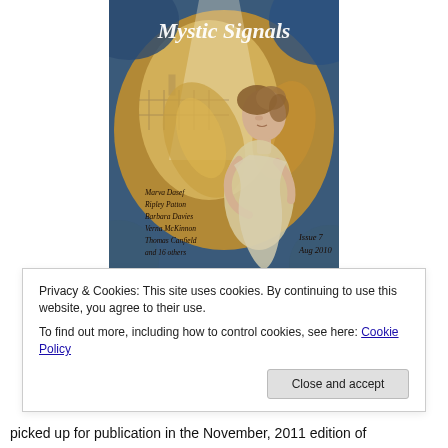[Figure (illustration): Magazine cover of 'Mystic Signals', Issue 7, Aug 2010. Features an illustrated angel/fairy figure with wings, holding fabric to chest, set against a blue and brown/amber background. Author names listed: Marva Dasef, Ripley Patton, Barbara Davies, Verna McKinnon, Thomas Canfield, and 16 others.]
Privacy & Cookies: This site uses cookies. By continuing to use this website, you agree to their use.
To find out more, including how to control cookies, see here: Cookie Policy
Close and accept
picked up for publication in the November, 2011 edition of